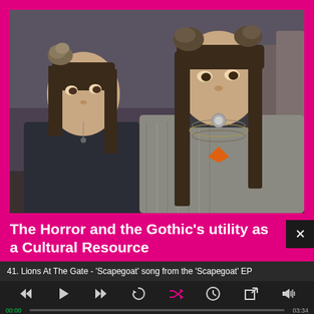[Figure (photo): Two young women with elaborate horn-like hair buns, wearing dark and grey knitted turtleneck sweaters. The woman on the left wears a dark sweater and has a small pendant, the woman on the right wears a grey cable-knit sweater with layered necklaces and an orange pendant. Background is a rustic outdoor setting with rocks and wooden structures.]
The Horror and the Gothic's utility as a Cultural Resource
41. Lions At The Gate - 'Scapegoat' song from the 'Scapegoat' EP
00:00
03:34